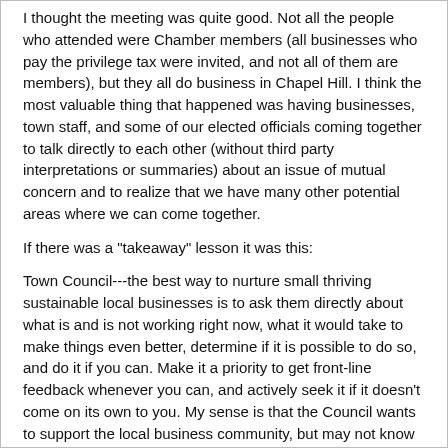I thought the meeting was quite good. Not all the people who attended were Chamber members (all businesses who pay the privilege tax were invited, and not all of them are members), but they all do business in Chapel Hill. I think the most valuable thing that happened was having businesses, town staff, and some of our elected officials coming together to talk directly to each other (without third party interpretations or summaries) about an issue of mutual concern and to realize that we have many other potential areas where we can come together.
If there was a "takeaway" lesson it was this:
Town Council---the best way to nurture small thriving sustainable local businesses is to ask them directly about what is and is not working right now, what it would take to make things even better, determine if it is possible to do so, and do it if you can. Make it a priority to get front-line feedback whenever you can, and actively seek it if it doesn't come on its own to you. My sense is that the Council wants to support the local business community, but may not know practically how its decisions play out at the day to day level for many businesses and how those decisions may have unintended consequences.